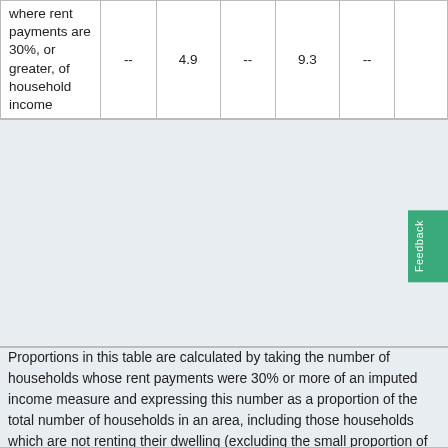| where rent payments are 30%, or greater, of household income | -- | 4.9 | -- | 9.3 | -- |  |
Proportions in this table are calculated by taking the number of households whose rent payments were 30% or more of an imputed income measure and expressing this number as a proportion of the total number of households in an area, including those households which are not renting their dwelling (excluding the small proportion of visitor only and other non-classifiable households). The nature of the income imputation means that the reported proportion may significantly overstate the true proportion. Further information on the method to impute income is available in the income fact sheet.
View the income fact sheet